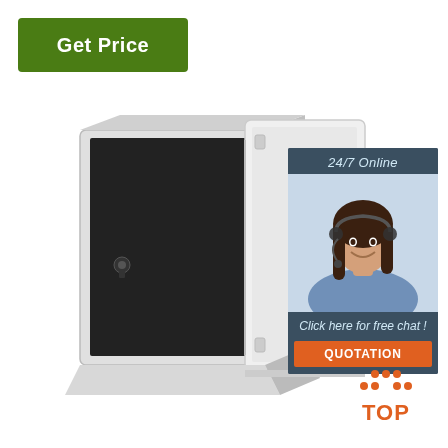[Figure (other): Green 'Get Price' button with white text]
[Figure (photo): White metal electrical enclosure box with open door showing black interior and a key lock]
[Figure (other): 24/7 Online customer support widget with photo of smiling woman with headset, 'Click here for free chat!' text, and orange QUOTATION button]
[Figure (other): Orange TOP badge with dot pattern above text]